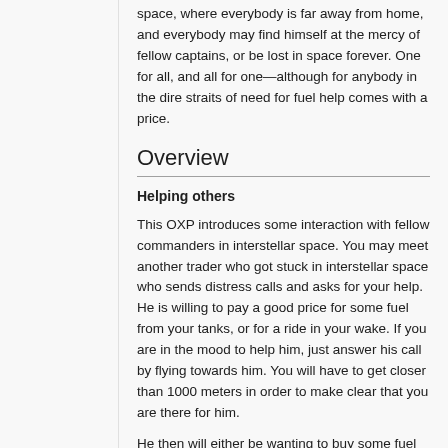space, where everybody is far away from home, and everybody may find himself at the mercy of fellow captains, or be lost in space forever. One for all, and all for one—although for anybody in the dire straits of need for fuel help comes with a price.
Overview
Helping others
This OXP introduces some interaction with fellow commanders in interstellar space. You may meet another trader who got stuck in interstellar space who sends distress calls and asks for your help. He is willing to pay a good price for some fuel from your tanks, or for a ride in your wake. If you are in the mood to help him, just answer his call by flying towards him. You will have to get closer than 1000 meters in order to make clear that you are there for him.
He then will either be wanting to buy some fuel from you, or request to follow through your